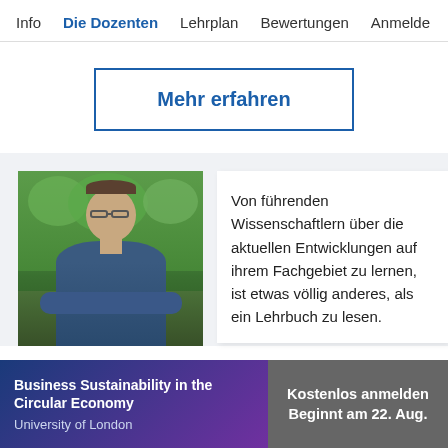Info  Die Dozenten  Lehrplan  Bewertungen  Anmelde
Mehr erfahren
[Figure (photo): Man with glasses standing outdoors with arms crossed, wearing a blue shirt, trees in background]
Von führenden Wissenschaftlern über die aktuellen Entwicklungen auf ihrem Fachgebiet zu lernen, ist etwas völlig anderes, als ein Lehrbuch zu lesen.
Business Sustainability in the Circular Economy
University of London
Kostenlos anmelden
Beginnt am 22. Aug.